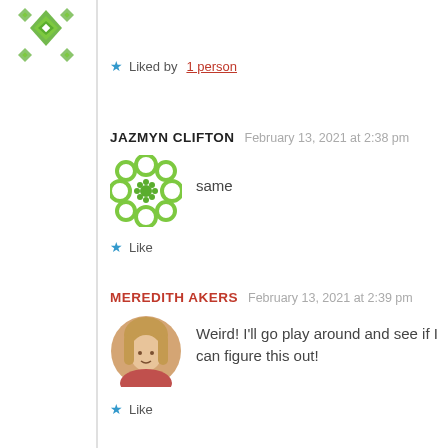[Figure (illustration): Green geometric snowflake avatar icon at top left]
Liked by 1 person
JAZMYN CLIFTON   February 13, 2021 at 2:38 pm
[Figure (illustration): Green geometric flower/wreath avatar icon for Jazmyn Clifton]
same
Like
MEREDITH AKERS   February 13, 2021 at 2:39 pm
[Figure (photo): Photo of Meredith Akers, a young woman with blonde hair, circular avatar]
Weird! I'll go play around and see if I can figure this out!
Like